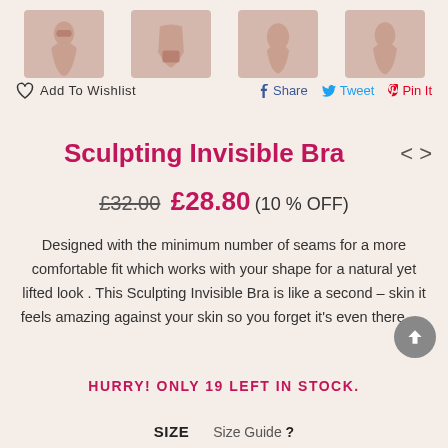[Figure (photo): Four thumbnail images of nude/beige shapewear/underwear shown in a row at the top of the page]
♡ Add To Wishlist    f Share    🐦 Tweet    ♡ Pin It
Sculpting Invisible Bra
£32.00  £28.80  (10 % OFF)
Designed with the minimum number of seams for a more comfortable fit which works with your shape for a natural yet lifted look . This Sculpting Invisible Bra is like a second – skin it feels amazing against your skin so you forget it's even there. …
HURRY! ONLY 19 LEFT IN STOCK.
SIZE    Size Guide ?